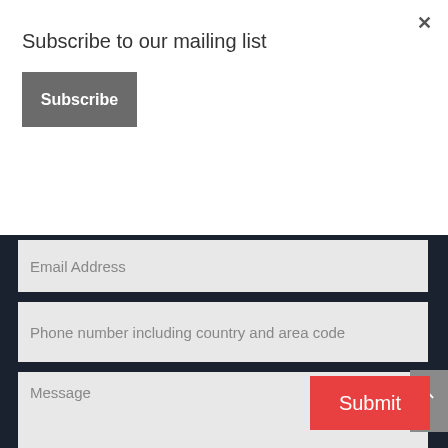×
Subscribe to our mailing list
Subscribe
Email Address
Phone number including country and area code
Message
Submit